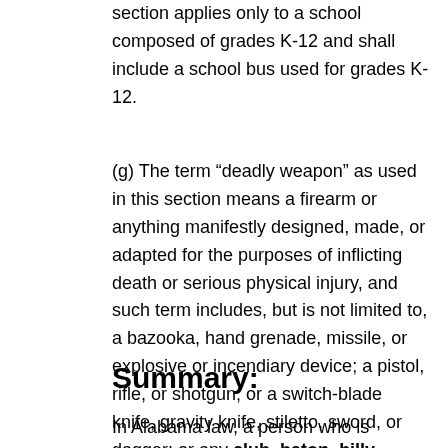section applies only to a school composed of grades K-12 and shall include a school bus used for grades K-12.
(g) The term “deadly weapon” as used in this section means a firearm or anything manifestly designed, made, or adapted for the purposes of inflicting death or serious physical injury, and such term includes, but is not limited to, a bazooka, hand grenade, missile, or explosive or incendiary device; a pistol, rifle, or shotgun; or a switch-blade knife, gravity knife, stiletto, sword, or dagger; or any club, baton, billy, black-jack, bludgeon, or metal knuckles.
Summary:
In Alabama law, a person who is convicted, a